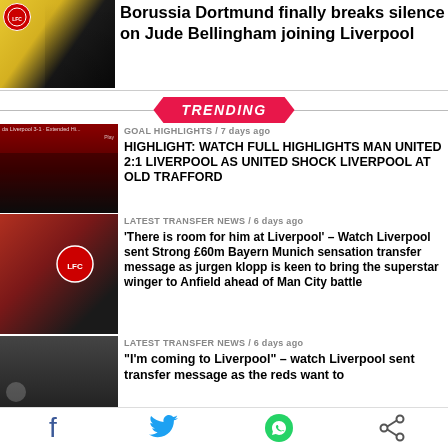[Figure (photo): Top article thumbnail showing Liverpool FC badge and Borussia Dortmund player in yellow kit]
Borussia Dortmund finally breaks silence on Jude Bellingham joining Liverpool
TRENDING
[Figure (screenshot): Video thumbnail showing Manchester United vs Liverpool match highlight]
GOAL HIGHLIGHTS / 7 days ago
HIGHLIGHT: WATCH FULL HIGHLIGHTS MAN UNITED 2:1 LIVERPOOL AS UNITED SHOCK LIVERPOOL AT OLD TRAFFORD
[Figure (photo): Player thumbnail - Bayern Munich player featured in transfer news]
LATEST TRANSFER NEWS / 6 days ago
'There is room for him at Liverpool' – Watch Liverpool sent Strong £60m Bayern Munich sensation transfer message as jurgen klopp is keen to bring the superstar winger to Anfield ahead of Man City battle
[Figure (photo): Press conference thumbnail for Liverpool transfer news]
LATEST TRANSFER NEWS / 6 days ago
"I'm coming to Liverpool" – watch Liverpool sent transfer message as the reds want to
Social sharing bar with Facebook, Twitter, WhatsApp, and share icons